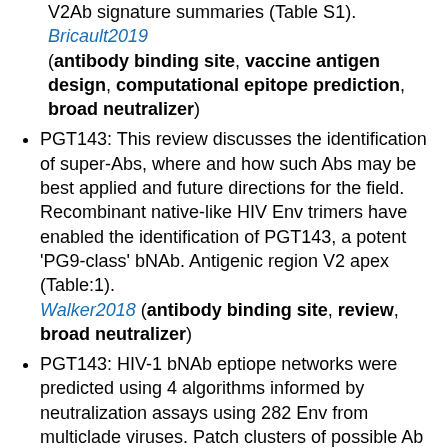V2Ab signature summaries (Table S1). Bricault2019 (antibody binding site, vaccine antigen design, computational epitope prediction, broad neutralizer)
PGT143: This review discusses the identification of super-Abs, where and how such Abs may be best applied and future directions for the field. Recombinant native-like HIV Env trimers have enabled the identification of PGT143, a potent 'PG9-class' bNAb. Antigenic region V2 apex (Table:1). Walker2018 (antibody binding site, review, broad neutralizer)
PGT143: HIV-1 bNAb eptiope networks were predicted using 4 algorithms informed by neutralization assays using 282 Env from multiclade viruses. Patch clusters of possible Ab epitope regions were tested for significant sensitivity by site-directed mutagenesis. Epitope (Ab binding site) networks of critical Env residues for 21 bNAb (b12, PG9, PG16, PGT121, PGT122, PGT123, PGT125,